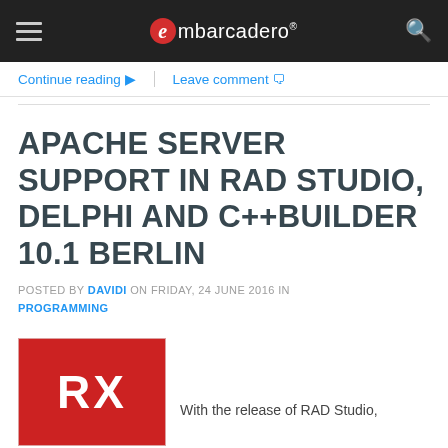embarcadero
Continue reading  |  Leave comment
APACHE SERVER SUPPORT IN RAD STUDIO, DELPHI AND C++BUILDER 10.1 BERLIN
POSTED BY DAVIDI ON FRIDAY, 24 JUNE 2016 IN PROGRAMMING
[Figure (logo): Red square with white RX letters — RAD Studio logo]
With the release of RAD Studio,